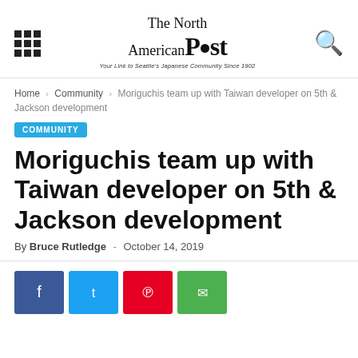The North American Post — Your Link to Seattle's Japanese Community Since 1902
Home › Community › Moriguchis team up with Taiwan developer on 5th & Jackson development
COMMUNITY
Moriguchis team up with Taiwan developer on 5th & Jackson development
By Bruce Rutledge - October 14, 2019